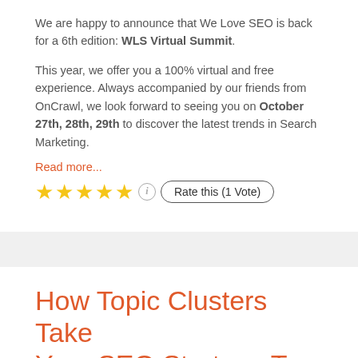We are happy to announce that We Love SEO is back for a 6th edition: WLS Virtual Summit.
This year, we offer you a 100% virtual and free experience. Always accompanied by our friends from OnCrawl, we look forward to seeing you on October 27th, 28th, 29th to discover the latest trends in Search Marketing.
Read more...
★★★★★ (i) Rate this (1 Vote)
How Topic Clusters Take Your SEO Strategy To The